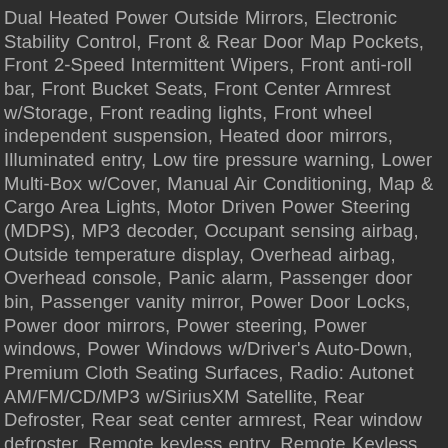Dual Heated Power Outside Mirrors, Electronic Stability Control, Front & Rear Door Map Pockets, Front 2-Speed Intermittent Wipers, Front anti-roll bar, Front Bucket Seats, Front Center Armrest w/Storage, Front reading lights, Front wheel independent suspension, Heated door mirrors, Illuminated entry, Low tire pressure warning, Lower Multi-Box w/Cover, Manual Air Conditioning, Map & Cargo Area Lights, Motor Driven Power Steering (MDPS), MP3 decoder, Occupant sensing airbag, Outside temperature display, Overhead airbag, Overhead console, Panic alarm, Passenger door bin, Passenger vanity mirror, Power Door Locks, Power door mirrors, Power steering, Power windows, Power Windows w/Driver's Auto-Down, Premium Cloth Seating Surfaces, Radio: Autonet AM/FM/CD/MP3 w/SiriusXM Satellite, Rear Defroster, Rear seat center armrest, Rear window defroster, Remote keyless entry, Remote Keyless Entry System w/Alarm, Security system, Solar Glass, Speed control, Speed-sensing steering, Split folding rear seat, Steering Wheel Mounted Cruise